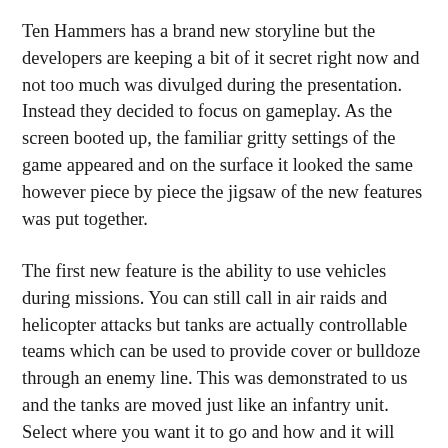Ten Hammers has a brand new storyline but the developers are keeping a bit of it secret right now and not too much was divulged during the presentation. Instead they decided to focus on gameplay. As the screen booted up, the familiar gritty settings of the game appeared and on the surface it looked the same however piece by piece the jigsaw of the new features was put together.
The first new feature is the ability to use vehicles during missions. You can still call in air raids and helicopter attacks but tanks are actually controllable teams which can be used to provide cover or bulldoze through an enemy line. This was demonstrated to us and the tanks are moved just like an infantry unit. Select where you want it to go and how and it will move, covering its body whilst doing it. Above that you can send it on a Seek...